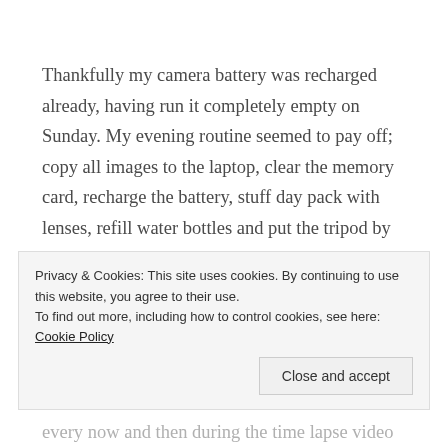Thankfully my camera battery was recharged already, having run it completely empty on Sunday. My evening routine seemed to pay off; copy all images to the laptop, clear the memory card, recharge the battery, stuff day pack with lenses, refill water bottles and put the tripod by the door. This set-up means I can just grab-and-go in the morning.
Privacy & Cookies: This site uses cookies. By continuing to use this website, you agree to their use.
To find out more, including how to control cookies, see here: Cookie Policy
Close and accept
every now and then during the time lapse video